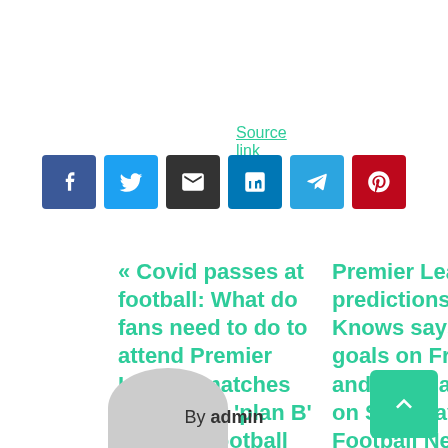Source link
[Figure (infographic): Social share icons: Facebook, Twitter, Email, LinkedIn, Telegram, Pinterest]
« Covid passes at football: What do fans need to do to attend Premier League matches under new ‘plan B’ rules? | Football News
Premier League predictions: Jones Knows says back goals on Friday and Arsenal to slip on Saturday | Football News »
By admin